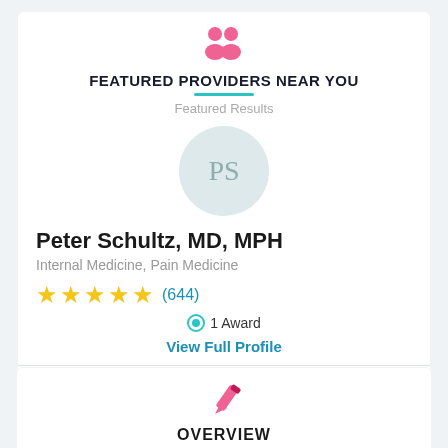FEATURED PROVIDERS NEAR YOU
Featured Results
[Figure (illustration): Avatar circle with initials PS in light teal/grey background]
Peter Schultz, MD, MPH
Internal Medicine, Pain Medicine
★★★★★ (644)
🏅 1 Award
View Full Profile
View More Providers >
OVERVIEW